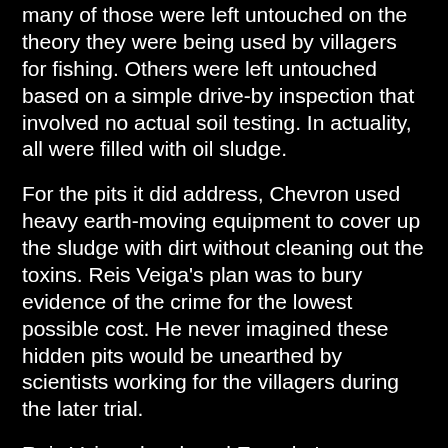Chevron took responsibility for under Reis Veiga's plan, many of those were left untouched on the theory they were being used by villagers for fishing. Others were left untouched based on a simple drive-by inspection that involved no actual soil testing. In actuality, all were filled with oil sludge.
For the pits it did address, Chevron used heavy earth-moving equipment to cover up the sludge with dirt without cleaning out the toxins. Reis Veiga's plan was to bury evidence of the crime for the lowest possible cost. He never imagined these hidden pits would be unearthed by scientists working for the villagers during the later trial.
Reis Veiga also duped Ecuador's government. During the negotiation over the clean-up plan, he conspired with certain officials to adopt a clean-up standard for petroleum hydrocarbons 50 times more lax than the typical U.S. regulatory norm. He then used a bogus soil sampling test to measure contamination that captured only a tiny fraction -- often less than one percent -- of the hydrocarbons present. His goal was to "certify" the pits as safe using the fraudulent sampling results. (For more on Chevron's use of the bogus